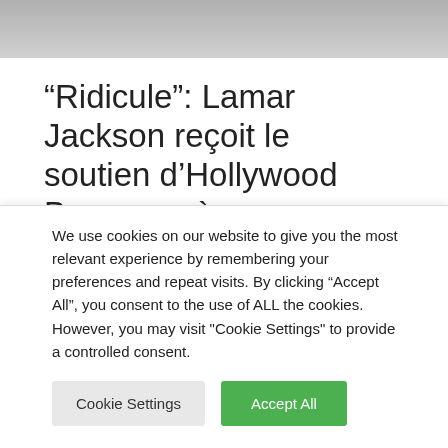[Figure (photo): Partial photo of athletes/people at top of page, cropped]
“Ridicule”: Lamar Jackson reçoit le soutien d’Hollywood Brown après un échange avec Bernard Pollard Jr.
Leave a Comment / sports / By admin
Le quart-arrière des Ravens de Baltimore, Lamar Jackson, a
We use cookies on our website to give you the most relevant experience by remembering your preferences and repeat visits. By clicking “Accept All”, you consent to the use of ALL the cookies. However, you may visit "Cookie Settings" to provide a controlled consent.